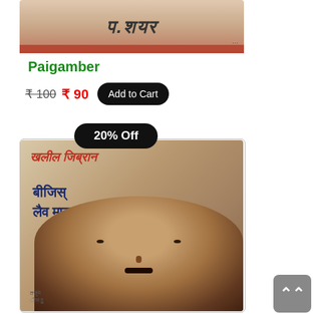[Figure (photo): Book cover image for Paigamber at top of page]
Paigamber
₹ 100  ₹ 90  Add to Cart
20% Off
[Figure (photo): Book cover image for a Kannada book featuring a man's portrait, with Kannada script text]